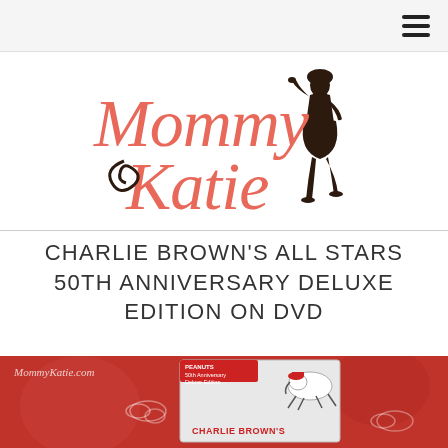[Figure (logo): Mommy Katie blog logo with pink cursive text and silhouette of a woman in a dress]
CHARLIE BROWN'S ALL STARS 50TH ANNIVERSARY DELUXE EDITION ON DVD
[Figure (photo): Photo of Charlie Brown's All Stars 50th Anniversary Deluxe Edition DVD case on a red background, with Snoopy running on the cover. Watermark reads MommyKatie.com]